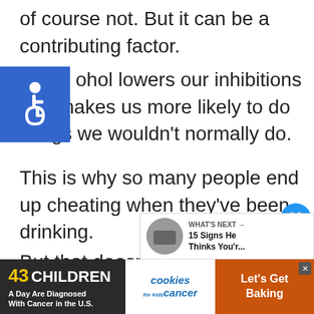of course not. But it can be a contributing factor.
[Figure (illustration): Blue accessibility icon with wheelchair symbol]
Alcohol lowers our inhibitions and makes us more likely to do things we wouldn't normally do.
This is why so many people end up cheating when they've been drinking.
[Figure (illustration): Blue circular like/heart button with count 1, and blue circular share button]
But that doesn't mean that everyone who drinks will cheat on their partner. It's a combination of factors, and being drunk is just one of
[Figure (illustration): What's Next widget showing thumbnail and text: 15 Signs He Thinks You'r...]
[Figure (illustration): Advertisement banner: 43 CHILDREN A Day Are Diagnosed With Cancer in the U.S. | cookies for kids cancer | Let's Get Baking]